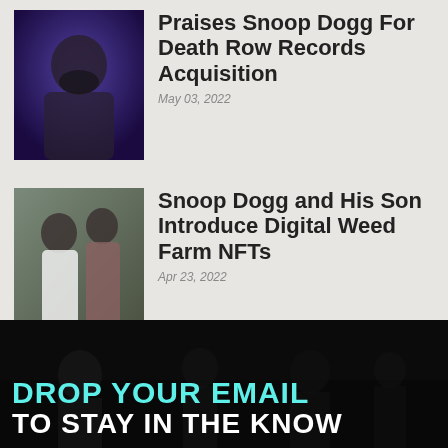[Figure (photo): Close-up photo of a Black man with a beard, looking upward, wearing a dark jacket, against a blue/purple stage light background]
Praises Snoop Dogg For Death Row Records Acquisition
May 03, 2022
[Figure (photo): Photo of Snoop Dogg in a white shirt standing next to his son in a suit, both at what appears to be an event or red carpet]
Snoop Dogg and His Son Introduce Digital Weed Farm NFTs
Apr 23, 2022
[Figure (photo): Dark background banner image showing a group of people in black and white photo, used as background for email signup call to action]
DROP YOUR EMAIL TO STAY IN THE KNOW